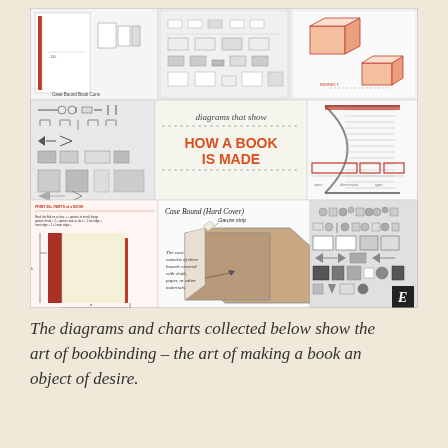[Figure (infographic): A collage of bookbinding diagrams showing: (top row) case bound book construction, book part schematics, and 3D box diagrams; (middle row) bookbinding hardware/parts illustrations, 'diagrams that show HOW A BOOK IS MADE' title card with dotted border, and a cross-section of a bound book spine, plus a flat plan diagram with red rectangles; (bottom row) red annotated book diagram with parts labeled, a Case Bound (Hard Cover) diagram showing gauze strip and the case consisting of three boards covered with cloth, paper, or other materials, and a grid of bookbinding symbols/icons with an Etsy 'E' badge in the corner.]
The diagrams and charts collected below show the art of bookbinding – the art of making a book an object of desire.